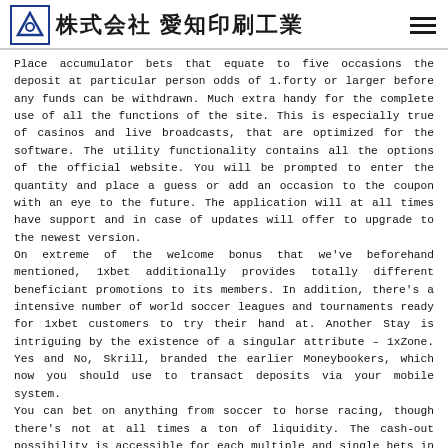株式会社 愛知印刷工業
Place accumulator bets that equate to five occasions the deposit at particular person odds of 1.forty or larger before any funds can be withdrawn. Much extra handy for the complete use of all the functions of the site. This is especially true of casinos and live broadcasts, that are optimized for the software. The utility functionality contains all the options of the official website. You will be prompted to enter the quantity and place a guess or add an occasion to the coupon with an eye to the future. The application will at all times have support and in case of updates will offer to upgrade to the newest version.
On extreme of the welcome bonus that we've beforehand mentioned, 1xbet additionally provides totally different beneficiant promotions to its members. In addition, there's a intensive number of world soccer leagues and tournaments ready for 1xbet customers to try their hand at. Another Stay is intriguing by the existence of a singular attribute – 1xZone. Yes and No, Skrill, branded the earlier Moneybookers, which now you should use to transact deposits via your mobile system.
You can bet on anything from soccer to horse racing, though there's not at all times a ton of liquidity. The cash-out possibility is accessible for each multiple and single bets in live matches, but additionally it is obtainable on a wide range of other athletic